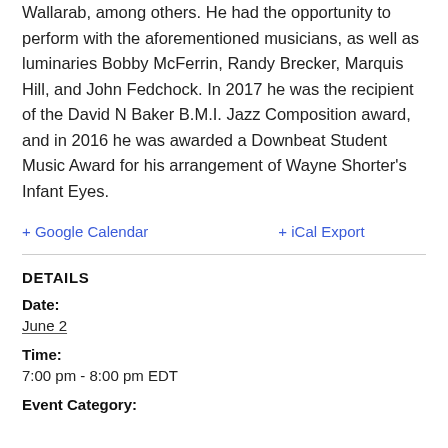Wallarab, among others. He had the opportunity to perform with the aforementioned musicians, as well as luminaries Bobby McFerrin, Randy Brecker, Marquis Hill, and John Fedchock. In 2017 he was the recipient of the David N Baker B.M.I. Jazz Composition award, and in 2016 he was awarded a Downbeat Student Music Award for his arrangement of Wayne Shorter's Infant Eyes.
+ Google Calendar   + iCal Export
DETAILS
Date:
June 2
Time:
7:00 pm - 8:00 pm EDT
Event Category: